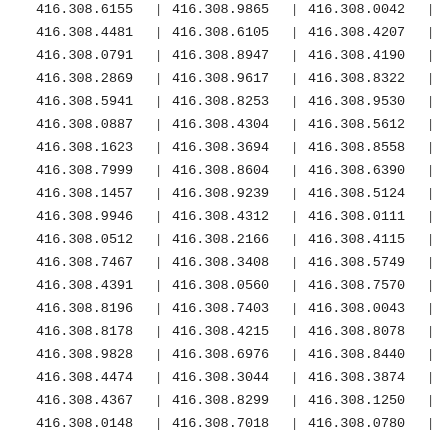| col1 | sep1 | col2 | sep2 | col3 | sep3 |
| --- | --- | --- | --- | --- | --- |
| 416.308.6155 | | | 416.308.9865 | | | 416.308.0042 | | |
| 416.308.4481 | | | 416.308.6105 | | | 416.308.4207 | | |
| 416.308.0791 | | | 416.308.8947 | | | 416.308.4190 | | |
| 416.308.2869 | | | 416.308.9617 | | | 416.308.8322 | | |
| 416.308.5941 | | | 416.308.8253 | | | 416.308.9530 | | |
| 416.308.0887 | | | 416.308.4304 | | | 416.308.5612 | | |
| 416.308.1623 | | | 416.308.3694 | | | 416.308.8558 | | |
| 416.308.7999 | | | 416.308.8604 | | | 416.308.6390 | | |
| 416.308.1457 | | | 416.308.9239 | | | 416.308.5124 | | |
| 416.308.9946 | | | 416.308.4312 | | | 416.308.0111 | | |
| 416.308.0512 | | | 416.308.2166 | | | 416.308.4115 | | |
| 416.308.7467 | | | 416.308.3408 | | | 416.308.5749 | | |
| 416.308.4391 | | | 416.308.0560 | | | 416.308.7570 | | |
| 416.308.8196 | | | 416.308.7403 | | | 416.308.0043 | | |
| 416.308.8178 | | | 416.308.4215 | | | 416.308.8078 | | |
| 416.308.9828 | | | 416.308.6976 | | | 416.308.8440 | | |
| 416.308.4474 | | | 416.308.3044 | | | 416.308.3874 | | |
| 416.308.4367 | | | 416.308.8299 | | | 416.308.1250 | | |
| 416.308.0148 | | | 416.308.7018 | | | 416.308.0780 | | |